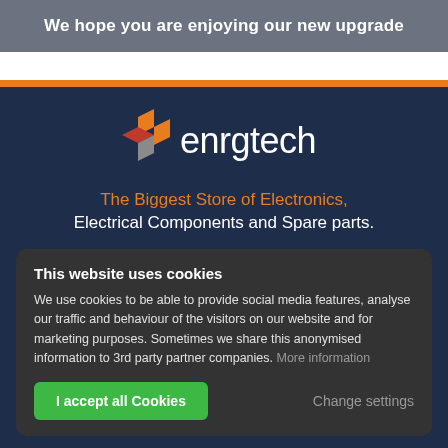We hope you are enjoying our new upgrade
[Figure (logo): Enrgtech logo with geometric 'e' icon in orange, red, and grey, followed by 'enrgtech' text in white]
The Biggest Store of Electronics, Electrical Components and Spare parts.
This website uses cookies
We use cookies to be able to provide social media features, analyse our traffic and behaviour of the visitors on our website and for marketing purposes. Sometimes we share this anonymised information to 3rd party partner companies. More information
I accept all Cookies
Change settings